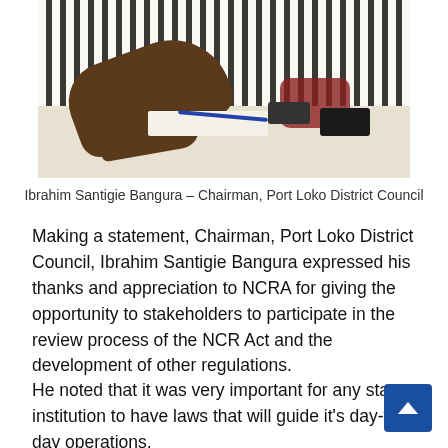[Figure (photo): Person in striped shirt sitting at a table, hand visible with gold watch and ring, documents and phones on table]
Ibrahim Santigie Bangura – Chairman, Port Loko District Council
Making a statement, Chairman, Port Loko District Council, Ibrahim Santigie Bangura expressed his thanks and appreciation to NCRA for giving the opportunity to stakeholders to participate in the review process of the NCR Act and the development of other regulations.
He noted that it was very important for any state institution to have laws that will guide it's day-to-day operations.